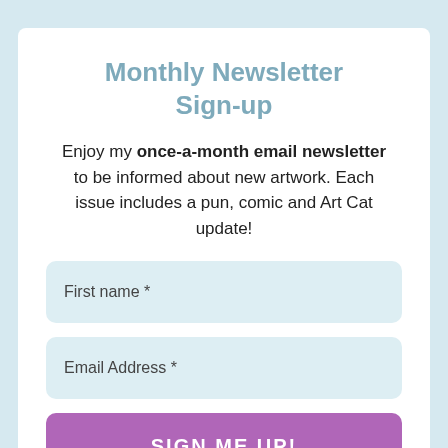Monthly Newsletter Sign-up
Enjoy my once-a-month email newsletter to be informed about new artwork. Each issue includes a pun, comic and Art Cat update!
First name *
Email Address *
SIGN ME UP!